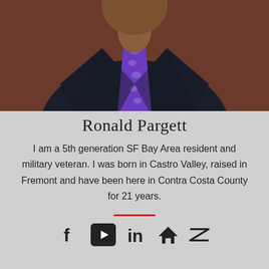[Figure (photo): Photo of Ronald Pargett wearing a dark navy shirt and purple tie with small pattern, cropped to show neck/torso area with warm reddish-brown background]
Ronald Pargett
I am a 5th generation SF Bay Area resident and military veteran. I was born in Castro Valley, raised in Fremont and have been here in Contra Costa County for 21 years.
[Figure (other): Social media icons: Facebook, YouTube, LinkedIn, home/Trulia, Zillow]